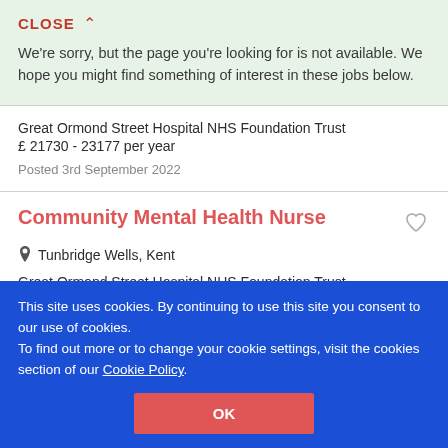CLOSE ∧
We're sorry, but the page you're looking for is not available. We hope you might find something of interest in these jobs below.
Great Ormond Street Hospital NHS Foundation Trust
£ 21730 - 23177 per year
Posted 3rd September 2022
Community Mental Health Nurse
Tunbridge Wells, Kent
Great Ormond Street Hospital NHS Foundation Trust
£ 33706 - 40588 per year
This site uses cookies. By continuing to use this site you consent to our use of cookies.
To find out more or to change your cookie settings, visit the cookies section of our Cookie Policy.
OK